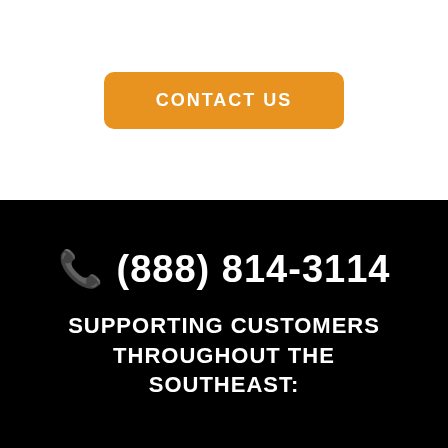[Figure (other): Orange rounded rectangle button with white bold uppercase text 'CONTACT US']
☎ (888) 814-3114
SUPPORTING CUSTOMERS THROUGHOUT THE SOUTHEAST: